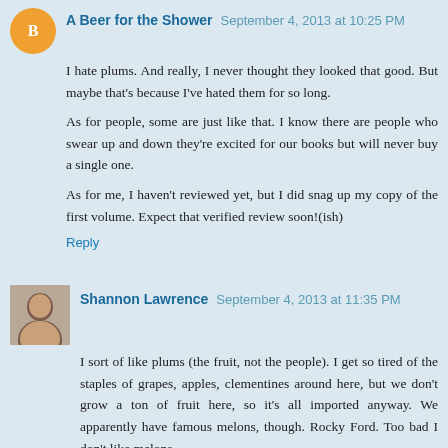A Beer for the Shower  September 4, 2013 at 10:25 PM
I hate plums. And really, I never thought they looked that good. But maybe that's because I've hated them for so long.
As for people, some are just like that. I know there are people who swear up and down they're excited for our books but will never buy a single one.
As for me, I haven't reviewed yet, but I did snag up my copy of the first volume. Expect that verified review soon!(ish)
Reply
Shannon Lawrence  September 4, 2013 at 11:35 PM
I sort of like plums (the fruit, not the people). I get so tired of the staples of grapes, apples, clementines around here, but we don't grow a ton of fruit here, so it's all imported anyway. We apparently have famous melons, though. Rocky Ford. Too bad I don't like melons...
I bought the compilation, but am pathetically behind on my